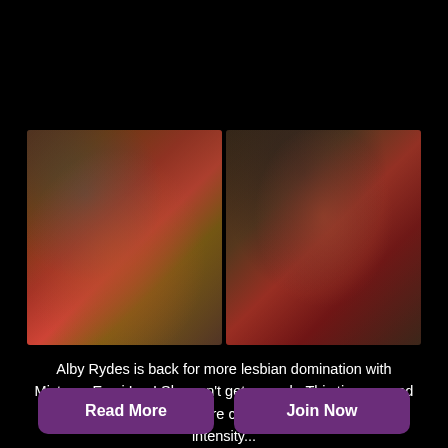[Figure (photo): Two side-by-side photos of tattooed women against a dark wooden background. Left photo shows a woman in a red bikini with teal-tipped dark hair and full-body tattoos. Right photo is a close-up of a dark-haired woman with neck and chest tattoos wearing red.]
Alby Rydes is back for more lesbian domination with Mistress Esmi Lee! She can't get enough. This time around Mistress wants her to endure constant orgasms with more intensity...
Read More
Join Now